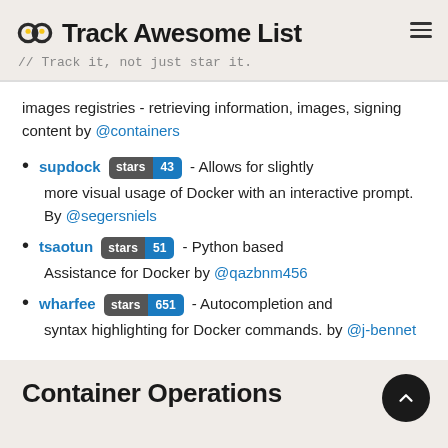Track Awesome List // Track it, not just star it.
images registries - retrieving information, images, signing content by @containers
supdock stars 43 - Allows for slightly more visual usage of Docker with an interactive prompt. By @segersniels
tsaotun stars 51 - Python based Assistance for Docker by @qazbnm456
wharfee stars 651 - Autocompletion and syntax highlighting for Docker commands. by @j-bennet
Container Operations